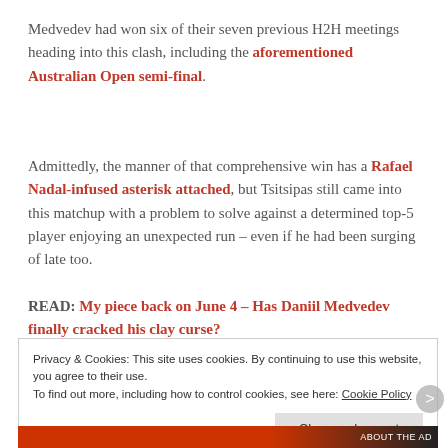Medvedev had won six of their seven previous H2H meetings heading into this clash, including the aforementioned Australian Open semi-final.
Admittedly, the manner of that comprehensive win has a Rafael Nadal-infused asterisk attached, but Tsitsipas still came into this matchup with a problem to solve against a determined top-5 player enjoying an unexpected run – even if he had been surging of late too.
READ: My piece back on June 4 – Has Daniil Medvedev finally cracked his clay curse?
Privacy & Cookies: This site uses cookies. By continuing to use this website, you agree to their use. To find out more, including how to control cookies, see here: Cookie Policy
Close and accept